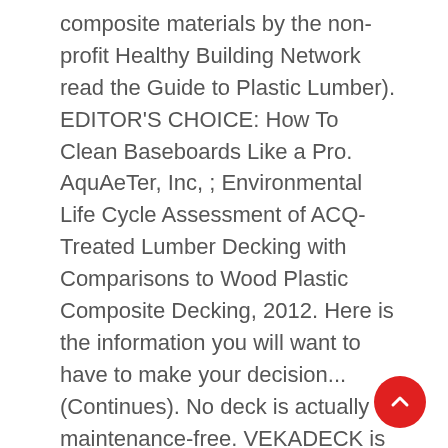composite materials by the non-profit Healthy Building Network read the Guide to Plastic Lumber). EDITOR'S CHOICE: How To Clean Baseboards Like a Pro. AquAeTer, Inc, ; Environmental Life Cycle Assessment of ACQ-Treated Lumber Decking with Comparisons to Wood Plastic Composite Decking, 2012. Here is the information you will want to have to make your decision... (Continues). No deck is actually maintenance-free. VEKADECK is the best deck board in the entire vinyl decking industry. Get free shipping on qualified White, Veranda Decking or Buy Online Pick Up in Store today in the Lumber & Composites Department. for pricing and availability. The lower deck to the right was new the summer of 2016. Numerous